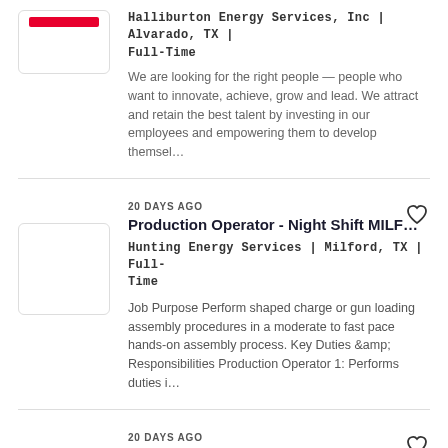Halliburton Energy Services, Inc | Alvarado, TX | Full-Time
We are looking for the right people — people who want to innovate, achieve, grow and lead. We attract and retain the best talent by investing in our employees and empowering them to develop themsel...
20 DAYS AGO
Production Operator - Night Shift MILF...
Hunting Energy Services | Milford, TX | Full-Time
Job Purpose Perform shaped charge or gun loading assembly procedures in a moderate to fast pace hands-on assembly process. Key Duties &amp; Responsibilities Production Operator 1: Performs duties i...
20 DAYS AGO
Production Operator 1 - Milford
Hunting Energy Services | Milford, TX | Full-Time
Job Purpose Perform shaped charge or gun loading assembly procedures in a moderate to fast pace hands-on assembly process...